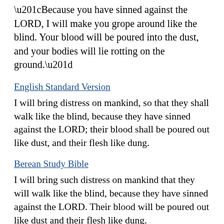“Because you have sinned against the LORD, I will make you grope around like the blind. Your blood will be poured into the dust, and your bodies will lie rotting on the ground.”
English Standard Version
I will bring distress on mankind, so that they shall walk like the blind, because they have sinned against the LORD; their blood shall be poured out like dust, and their flesh like dung.
Berean Study Bible
I will bring such distress on mankind that they will walk like the blind, because they have sinned against the LORD. Their blood will be poured out like dust and their flesh like dung.